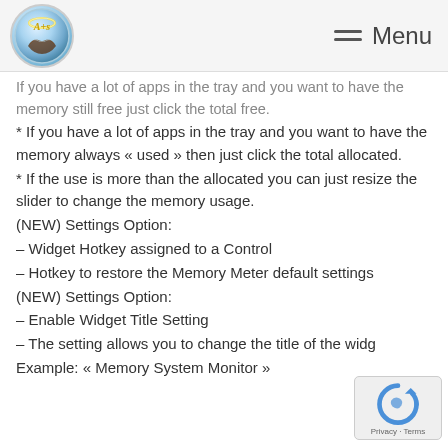Menu
If you have a lot of apps in the tray and you want to have the memory still free just click the total free.
* If you have a lot of apps in the tray and you want to have the memory always « used » then just click the total allocated.
* If the use is more than the allocated you can just resize the slider to change the memory usage.
(NEW) Settings Option:
– Widget Hotkey assigned to a Control
– Hotkey to restore the Memory Meter default settings
(NEW) Settings Option:
– Enable Widget Title Setting
– The setting allows you to change the title of the widget any of the following settings: Title, Memory, Memory Al
Example: « Memory System Monitor »